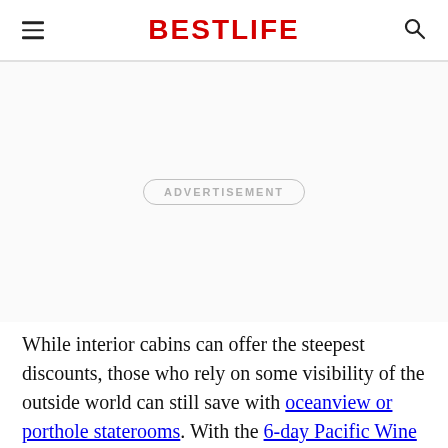BestLife
[Figure (other): Advertisement placeholder area with ADVERTISEMENT label in bordered pill/capsule shape]
While interior cabins can offer the steepest discounts, those who rely on some visibility of the outside world can still save with oceanview or porthole staterooms. With the 6-day Pacific Wine Country sailing aboard